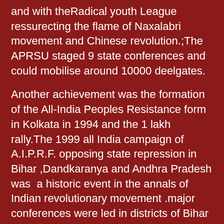and with theRadical youth League ressurecting the flame of Naxalabri movement and Chinese revolution.;The APRSU staged 9 state conferences and could mobilise around 10000 deelgates.
Another achievement was the formation of the All-India Peoples Resistance form in Kolkata in 1994 and the 1 lakh rally.The 1999 all India campaign of A.I.P.R.F. opposing state repression in Bihar ,Dandkaranya and Andhra Pradesh was  a historic event in the annals of Indian revolutionary movement .major conferences were led in districts of Bihar ,Andhra Pradesh and Punjab.It was the 1st all-India sustained campaign aginst state repression by a front of revolutionary groups.Another remarkable event was the staging of event on the 50th th anniversary of Independence in Mumbai in 1997.where the face of the true character of the  independence we achieved , the nature of the state e and the revolutionary movement was pointed to perfection.